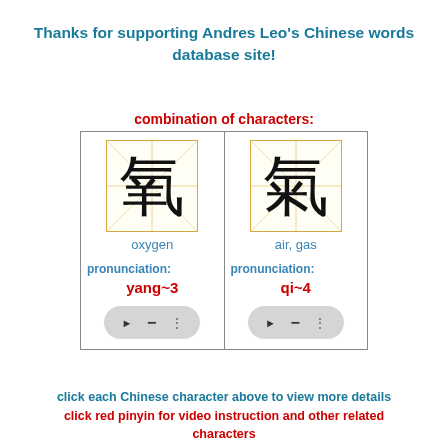Thanks for supporting Andres Leo's Chinese words database site!
combination of characters:
[Figure (illustration): Two Chinese characters shown in grid boxes: 氧 (oxygen, yang~3) and 氣 (air, gas, qi~4), each with pronunciation labels, pinyin in red, and audio player buttons]
click each Chinese character above to view more details
click red pinyin for video instruction and other related characters